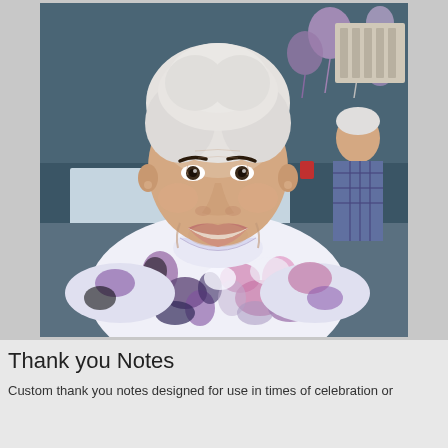[Figure (photo): Elderly woman with white hair, smiling broadly, wearing a white floral blouse with purple and pink flowers. She is seated at what appears to be a celebration or party event with balloons and other people visible in the background.]
Thank you Notes
Custom thank you notes designed for use in times of celebration or